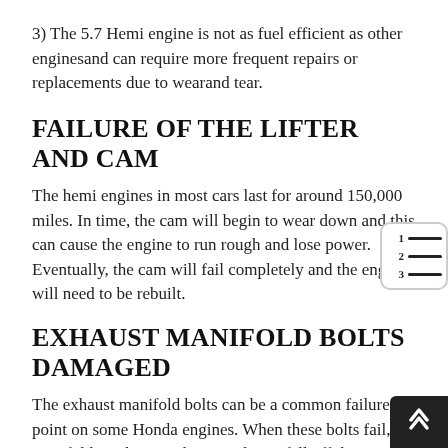3) The 5.7 Hemi engine is not as fuel efficient as other enginesand can require more frequent repairs or replacements due to wearand tear.
FAILURE OF THE LIFTER AND CAM
The hemi engines in most cars last for around 150,000 miles. In time, the cam will begin to wear down and this can cause the engine to run rough and lose power. Eventually, the cam will fail completely and the engine will need to be rebuilt.
EXHAUST MANIFOLD BOLTS DAMAGED
The exhaust manifold bolts can be a common failure point on some Honda engines. When these bolts fail, the manifold can become loose and may fall off the engine. This can cause serious damage to the engine and may require replacement.